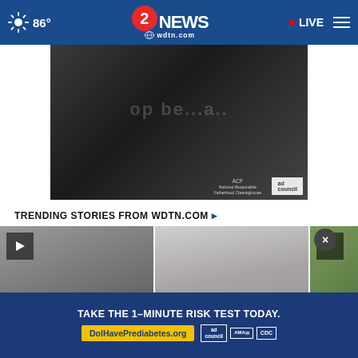86° | 2 NEWS wdtn.com | LIVE
[Figure (photo): Black and white photo of a man with a baby, ACF National Responsible Fatherhood Clearinghouse and Ad Council logos visible]
TRENDING STORIES FROM WDTN.COM ▸
[Figure (photo): Thumbnail of a person, with play button overlay]
[Figure (photo): Photo of a person with dark hair]
[Figure (photo): Outdoor photo with play button overlay]
But...our...
[Figure (screenshot): Prediabetes risk advertisement banner: TAKE THE 1-MINUTE RISK TEST TODAY. DolHavePrediabetes.org. Ad Council, AMA, CDC logos.]